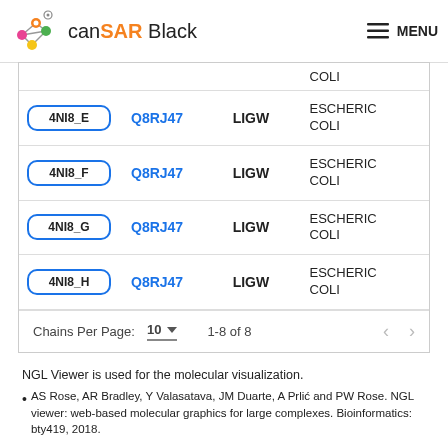canSAR Black  MENU
| Chain | UniProt | Ligand | Organism |
| --- | --- | --- | --- |
|  |  |  | COLI |
| 4NI8_E | Q8RJ47 | LIGW | ESCHERIC COLI |
| 4NI8_F | Q8RJ47 | LIGW | ESCHERIC COLI |
| 4NI8_G | Q8RJ47 | LIGW | ESCHERIC COLI |
| 4NI8_H | Q8RJ47 | LIGW | ESCHERIC COLI |
Chains Per Page: 10 ▾  1-8 of 8  < >
NGL Viewer is used for the molecular visualization.
AS Rose, AR Bradley, Y Valasatava, JM Duarte, A Prlić and PW Rose. NGL viewer: web-based molecular graphics for large complexes. Bioinformatics: bty419, 2018.